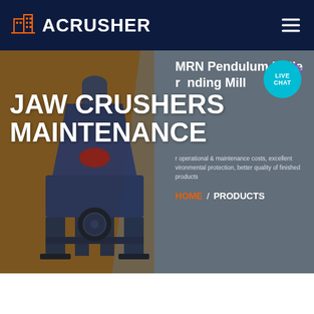[Figure (logo): ACRUSHER logo with orange building icon on dark navy background navigation bar]
[Figure (screenshot): Website screenshot showing jaw crusher maintenance page with industrial crusher machine image, diagonal split background (brown-gold left, slate-blue right), 'JAW CRUSHERS MAINTENANCE' title text, MRN Pendulum Roller Grinding Mill overlay text on right side, HOME / PRODUCTS breadcrumb navigation, and LIVE CHAT bubble button]